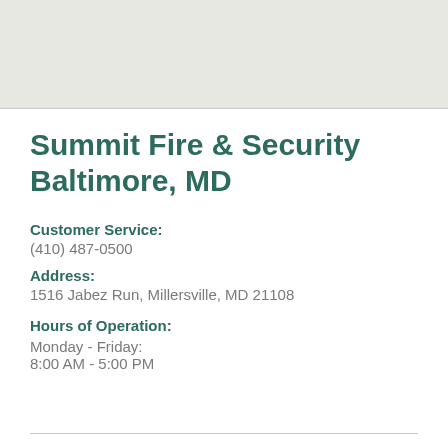[Figure (map): Map background showing location area, light gray tone]
Summit Fire & Security Baltimore, MD
Customer Service:
(410) 487-0500
Address:
1516 Jabez Run, Millersville, MD 21108
Hours of Operation:
Monday - Friday:
8:00 AM - 5:00 PM